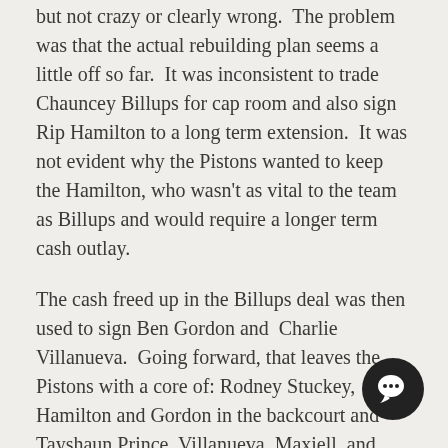but not crazy or clearly wrong. The problem was that the actual rebuilding plan seems a little off so far. It was inconsistent to trade Chauncey Billups for cap room and also sign Rip Hamilton to a long term extension. It was not evident why the Pistons wanted to keep the Hamilton, who wasn't as vital to the team as Billups and would require a longer term cash outlay.
The cash freed up in the Billups deal was then used to sign Ben Gordon and Charlie Villanueva. Going forward, that leaves the Pistons with a core of: Rodney Stuckey, Hamilton and Gordon in the backcourt and Tayshaun Prince, Villanueva, Maxiell, and room for possibly one more big signing short term (assuming Hamilton or Prince aren't traded). It remains to be seen if Stuckey will end up being a good NBA player (or a point gua even if he is good) and there is a distinct lack of sta this core. This is not a bad team but it the rebuilding